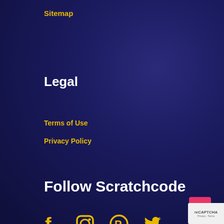Sitemap
Legal
Terms of Use
Privacy Policy
Follow Scratchcode
[Figure (infographic): Social media icons: Facebook, Instagram, Pinterest, Twitter in gold/yellow color]
Copyright © 2022 ScratchCode. All rights reserved.